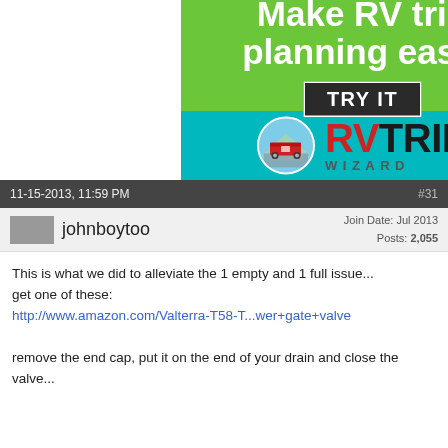[Figure (advertisement): Green and teal advertisement banner for RV Trip Wizard. Green top section reads 'Make RV trip planning easy.' with a dark 'TRY IT' button. Teal bottom section shows RV Trip Wizard logo with circular RV icon and brand name.]
11-15-2013, 11:59 PM    #31
johnboytoo    Join Date: Jul 2013  Posts: 2,055
This is what we did to alleviate the 1 empty and 1 full issue... get one of these:
http://www.amazon.com/Valterra-T58-T...wer+gate+valve

remove the end cap, put it on the end of your drain and close the valve...